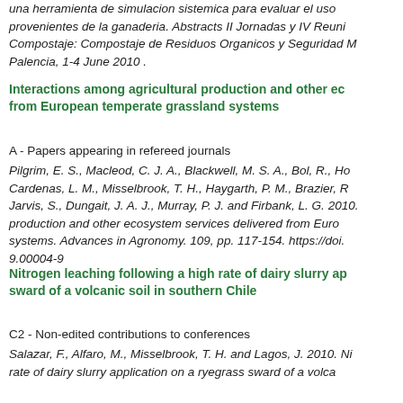una herramienta de simulacion sistemica para evaluar el uso provenientes de la ganaderia. Abstracts II Jornadas y IV Reuni Compostaje: Compostaje de Residuos Organicos y Seguridad N Palencia, 1-4 June 2010 .
Interactions among agricultural production and other ec from European temperate grassland systems
A - Papers appearing in refereed journals
Pilgrim, E. S., Macleod, C. J. A., Blackwell, M. S. A., Bol, R., Ho Cardenas, L. M., Misselbrook, T. H., Haygarth, P. M., Brazier, R Jarvis, S., Dungait, J. A. J., Murray, P. J. and Firbank, L. G. 2010. production and other ecosystem services delivered from Euro systems. Advances in Agronomy. 109, pp. 117-154. https://doi. 9.00004-9
Nitrogen leaching following a high rate of dairy slurry ap sward of a volcanic soil in southern Chile
C2 - Non-edited contributions to conferences
Salazar, F., Alfaro, M., Misselbrook, T. H. and Lagos, J. 2010. Ni rate of dairy slurry application on a ryegrass sward of a volca